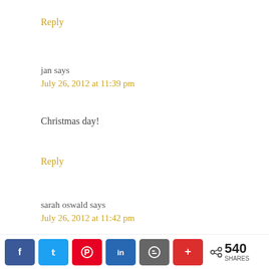Reply
jan says
July 26, 2012 at 11:39 pm
Christmas day!
Reply
sarah oswald says
July 26, 2012 at 11:42 pm
Facebook Twitter Pinterest LinkedIn Blogger Plus 540 SHARES